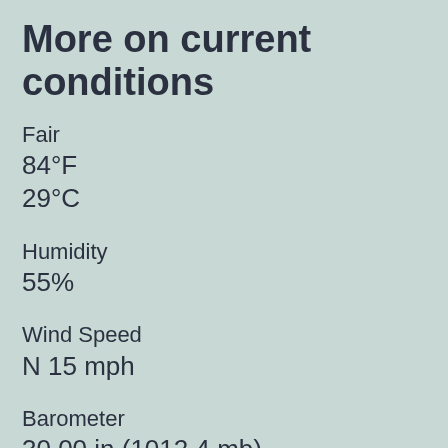More on current conditions
Fair
84°F
29°C
Humidity
55%
Wind Speed
N 15 mph
Barometer
30.00 in (1012.4 mb)